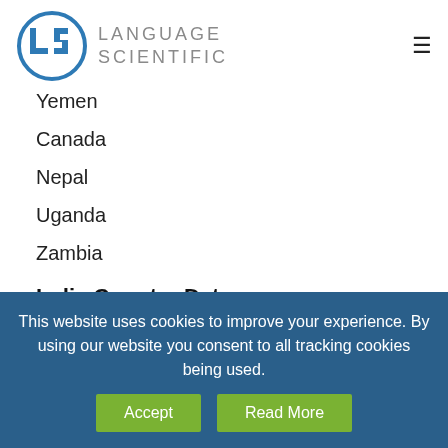[Figure (logo): Language Scientific logo — circular LS icon in blue with 'LANGUAGE SCIENTIFIC' text to the right in gray]
Yemen
Canada
Nepal
Uganda
Zambia
India Country Data:
Country: India
Capital: New Delhi
Population: 1,281,935,911
This website uses cookies to improve your experience. By using our website you consent to all tracking cookies being used.